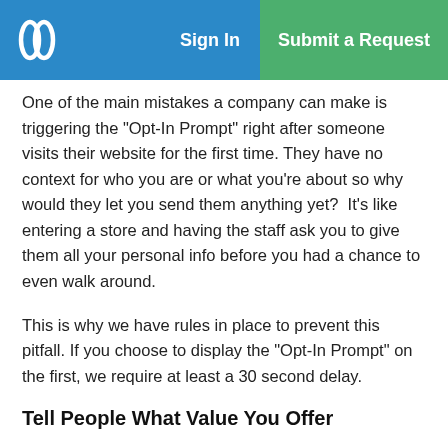Sign In | Submit a Request
One of the main mistakes a company can make is triggering the "Opt-In Prompt" right after someone visits their website for the first time. They have no context for who you are or what you're about so why would they let you send them anything yet?  It's like entering a store and having the staff ask you to give them all your personal info before you had a chance to even walk around.
This is why we have rules in place to prevent this pitfall. If you choose to display the "Opt-In Prompt" on the first, we require at least a 30 second delay.
Tell People What Value You Offer